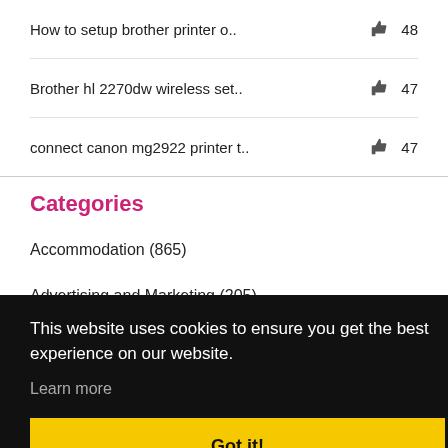How to setup brother printer o.. 👍 48
Brother hl 2270dw wireless set.. 👍 47
connect canon mg2922 printer t.. 👍 47
Categories
Accommodation (865)
Advertising and Marketing (205)
This website uses cookies to ensure you get the best experience on our website.
Learn more
Got it!
Beauty (88)